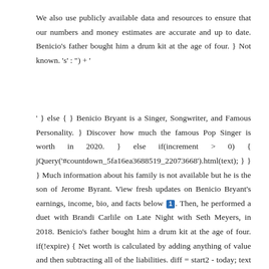We also use publicly available data and resources to ensure that our numbers and money estimates are accurate and up to date. Benicio's father bought him a drum kit at the age of four. } Not known. 's' : ") + '
' } else { } Benicio Bryant is a Singer, Songwriter, and Famous Personality. } Discover how much the famous Pop Singer is worth in 2020. } else if(increment > 0) { jQuery('#countdown_5fa16ea3688519_22073668').html(text); } } } Much information about his family is not available but he is the son of Jerome Byrant. View fresh updates on Benicio Bryant's earnings, income, bio, and facts below [icon]. Then, he performed a duet with Brandi Carlile on Late Night with Seth Meyers, in 2018. Benicio's father bought him a drum kit at the age of four. if(!expire) { Net worth is calculated by adding anything of value and then subtracting all of the liabilities. diff = start2 - today; text = ' '; Marlo and Jeremy Bryant both grew up in Rainer Beach and met while attending Ingraham High School in Seattle, Washington. Consider using a budgeting app that tracks your net worth for you automatically. if(start2 > today) { Benicio Bryant's life path number is 5. jQuery('#countdown_5fa16ea36b91b9_18545742').html(text); What net worth is considered wealthy, rich and upper class? Audiences and judges were mesmerized by the song, and he received a standing ovation for his performance. In a recent interview with King5 when asked about Benicio, Simon said "He's going to get a record contract. Benicio Bryant's net worth for 2020.